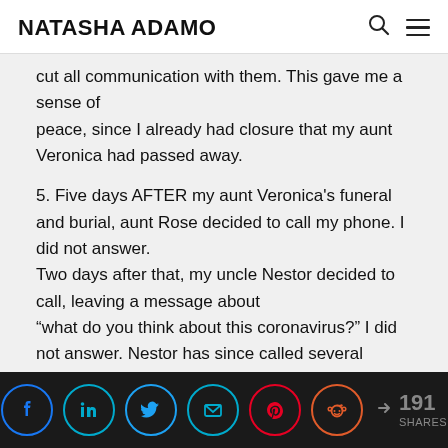NATASHA ADAMO
cut all communication with them. This gave me a sense of peace, since I already had closure that my aunt Veronica had passed away.

5. Five days AFTER my aunt Veronica's funeral and burial, aunt Rose decided to call my phone. I did not answer. Two days after that, my uncle Nestor decided to call, leaving a message about “what do you think about this coronavirus?” I did not answer. Nestor has since called several times, but I have
191 SHARES